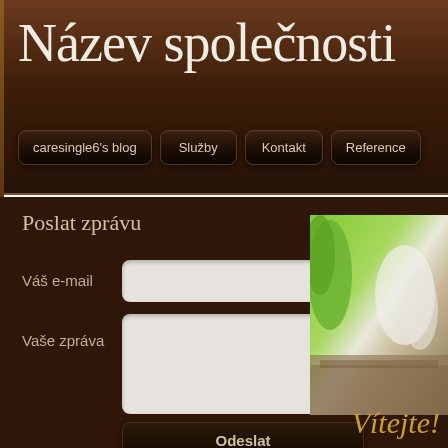Název společnosti
caresingle6's blog | Služby | Kontakt | Reference
Poslat zprávu
Váš e-mail
Vaše zpráva
Odeslat
[Figure (photo): Photo of green plants and white objects on wooden surface]
Vítejte!